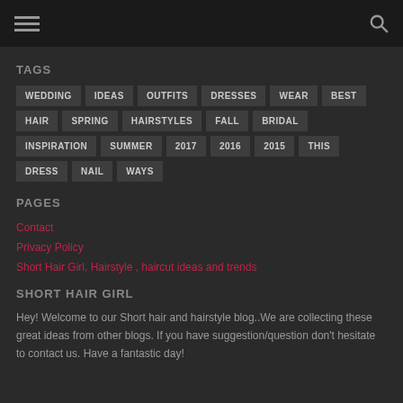TAGS
WEDDING, IDEAS, OUTFITS, DRESSES, WEAR, BEST, HAIR, SPRING, HAIRSTYLES, FALL, BRIDAL, INSPIRATION, SUMMER, 2017, 2016, 2015, THIS, DRESS, NAIL, WAYS
PAGES
Contact
Privacy Policy
Short Hair Girl, Hairstyle , haircut ideas and trends
SHORT HAIR GIRL
Hey! Welcome to our Short hair and hairstyle blog..We are collecting these great ideas from other blogs. If you have suggestion/question don't hesitate to contact us. Have a fantastic day!